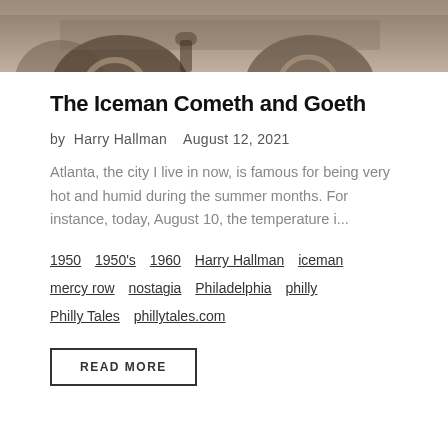[Figure (photo): Vintage sepia-toned photograph showing old automobile wheels and lower body of an early 20th century car, partial view cropped at top of page]
The Iceman Cometh and Goeth
by Harry Hallman   August 12, 2021
Atlanta, the city I live in now, is famous for being very hot and humid during the summer months. For instance, today, August 10, the temperature i...
1950  1950's  1960  Harry Hallman  iceman  mercy row  nostagia  Philadelphia  philly  Philly Tales  phillytales.com
READ MORE